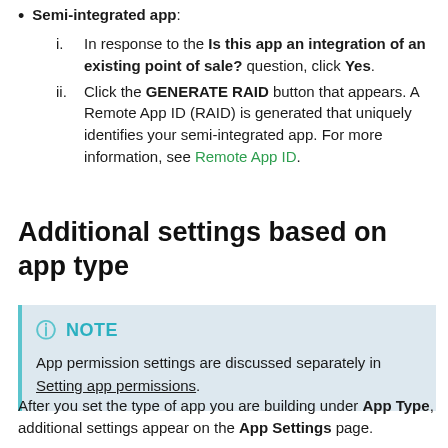Semi-integrated app: i. In response to the Is this app an integration of an existing point of sale? question, click Yes. ii. Click the GENERATE RAID button that appears. A Remote App ID (RAID) is generated that uniquely identifies your semi-integrated app. For more information, see Remote App ID.
Additional settings based on app type
NOTE
App permission settings are discussed separately in Setting app permissions.
After you set the type of app you are building under App Type, additional settings appear on the App Settings page.